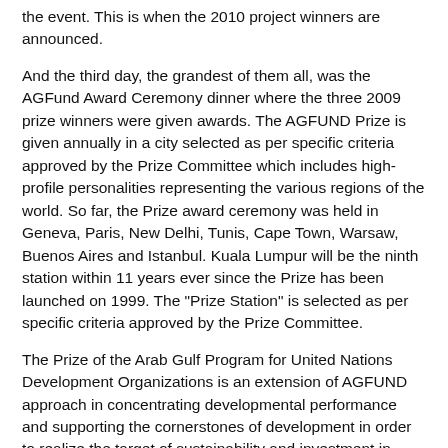the event. This is when the 2010 project winners are announced.
And the third day, the grandest of them all, was the AGFund Award Ceremony dinner where the three 2009 prize winners were given awards. The AGFUND Prize is given annually in a city selected as per specific criteria approved by the Prize Committee which includes high-profile personalities representing the various regions of the world. So far, the Prize award ceremony was held in Geneva, Paris, New Delhi, Tunis, Cape Town, Warsaw, Buenos Aires and Istanbul. Kuala Lumpur will be the ninth station within 11 years ever since the Prize has been launched on 1999. The "Prize Station" is selected as per specific criteria approved by the Prize Committee.
The Prize of the Arab Gulf Program for United Nations Development Organizations is an extension of AGFUND approach in concentrating developmental performance and supporting the cornerstones of development in order to realize the target of sustainability and investment in man.